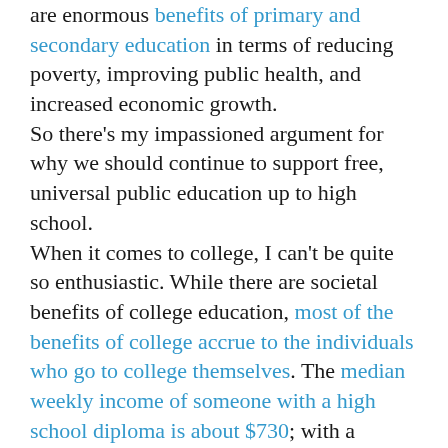are enormous benefits of primary and secondary education in terms of reducing poverty, improving public health, and increased economic growth. So there's my impassioned argument for why we should continue to support free, universal public education up to high school. When it comes to college, I can't be quite so enthusiastic. While there are societal benefits of college education, most of the benefits of college accrue to the individuals who go to college themselves. The median weekly income of someone with a high school diploma is about $730; with a bachelor's degree this rises to $1200; and with a doctoral or professional